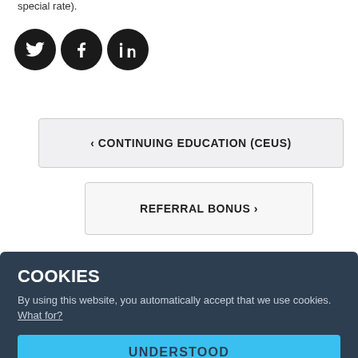special rate).
[Figure (infographic): Three circular social media icons (Twitter, Facebook, LinkedIn) in dark/black circles with white logos.]
< CONTINUING EDUCATION (CEUS)
REFERRAL BONUS >
COOKIES
By using this website, you automatically accept that we use cookies. What for?
UNDERSTOOD